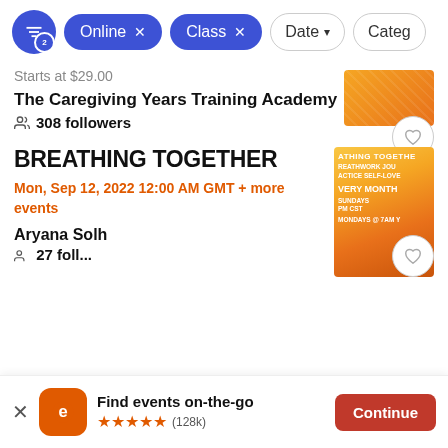[Figure (screenshot): Filter bar with settings icon showing badge '2', active filter chips for 'Online x' and 'Class x', and outline buttons for 'Date v' and 'Categ...']
Starts at $29.00
The Caregiving Years Training Academy
308 followers
BREATHING TOGETHER
Mon, Sep 12, 2022 12:00 AM GMT + more events
Aryana Solh
Find events on-the-go
★★★★★ (128k)
Continue